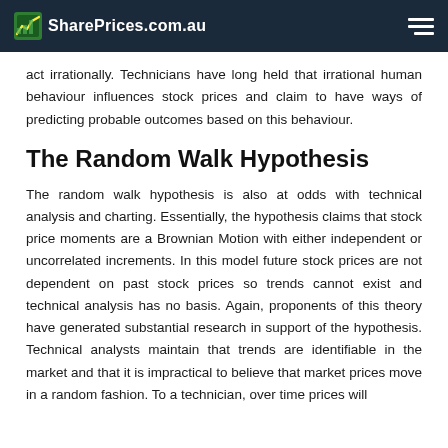SharePrices.com.au
act irrationally. Technicians have long held that irrational human behaviour influences stock prices and claim to have ways of predicting probable outcomes based on this behaviour.
The Random Walk Hypothesis
The random walk hypothesis is also at odds with technical analysis and charting. Essentially, the hypothesis claims that stock price moments are a Brownian Motion with either independent or uncorrelated increments. In this model future stock prices are not dependent on past stock prices so trends cannot exist and technical analysis has no basis. Again, proponents of this theory have generated substantial research in support of the hypothesis. Technical analysts maintain that trends are identifiable in the market and that it is impractical to believe that market prices move in a random fashion. To a technician, over time prices will